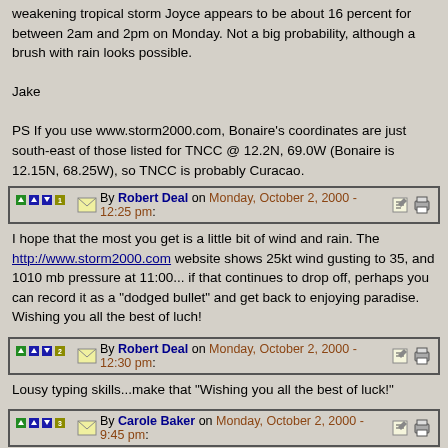weakening tropical storm Joyce appears to be about 16 percent for between 2am and 2pm on Monday. Not a big probability, although a brush with rain looks possible.

Jake

PS If you use www.storm2000.com, Bonaire's coordinates are just south-east of those listed for TNCC @ 12.2N, 69.0W (Bonaire is 12.15N, 68.25W), so TNCC is probably Curacao.
By Robert Deal on Monday, October 2, 2000 - 12:25 pm:
I hope that the most you get is a little bit of wind and rain. The http://www.storm2000.com website shows 25kt wind gusting to 35, and 1010 mb pressure at 11:00... if that continues to drop off, perhaps you can record it as a "dodged bullet" and get back to enjoying paradise. Wishing you all the best of luch!
By Robert Deal on Monday, October 2, 2000 - 12:30 pm:
Lousy typing skills...make that "Wishing you all the best of luck!"
By Carole Baker on Monday, October 2, 2000 - 9:45 pm:
Is anyone able to report the "road" conditions up at the Park at this point? Looks as the you had almost one inch of rain according to Jake's